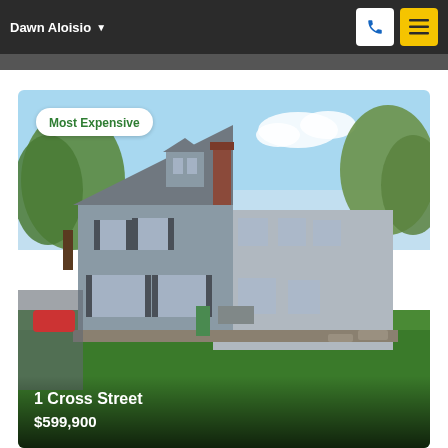Dawn Aloisio
[Figure (photo): Exterior photo of a two-story gray colonial house with a steep roofline, brick chimney, green lawn, and trees in the background. A 'Most Expensive' badge overlays the upper-left of the photo.]
1 Cross Street
$599,900